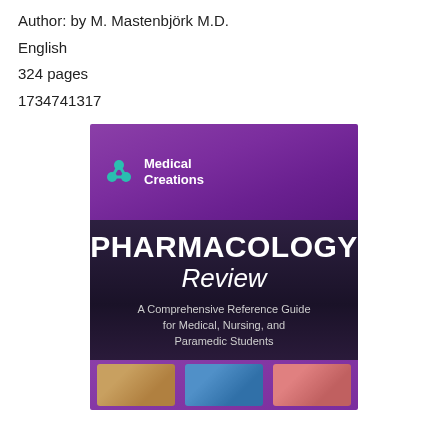Author: by M. Mastenbjörk M.D.
English
324 pages
1734741317
[Figure (illustration): Book cover for 'Pharmacology Review: A Comprehensive Reference Guide for Medical, Nursing, and Paramedic Students' published by Medical Creations, authored by M. Mastenbjörk M.D. The cover has a purple gradient top section with the Medical Creations logo, a dark section with bold white text showing the title, and a bottom strip with three small thumbnail photos.]